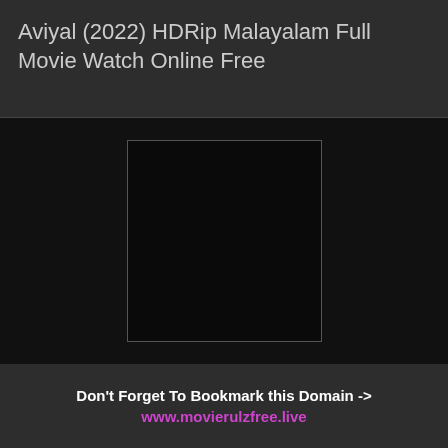Aviyal (2022) HDRip Malayalam Full Movie Watch Online Free
[Figure (other): Black rectangle with thin border representing a movie thumbnail placeholder]
Don't Forget To Bookmark this Domain -> www.movierulzfree.live